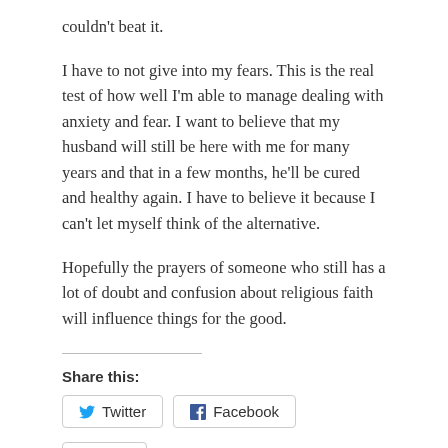couldn't beat it.
I have to not give into my fears. This is the real test of how well I'm able to manage dealing with anxiety and fear. I want to believe that my husband will still be here with me for many years and that in a few months, he'll be cured and healthy again. I have to believe it because I can't let myself think of the alternative.
Hopefully the prayers of someone who still has a lot of doubt and confusion about religious faith will influence things for the good.
Share this:
[Figure (other): Twitter share button]
[Figure (other): Facebook share button]
[Figure (other): Like button with star icon]